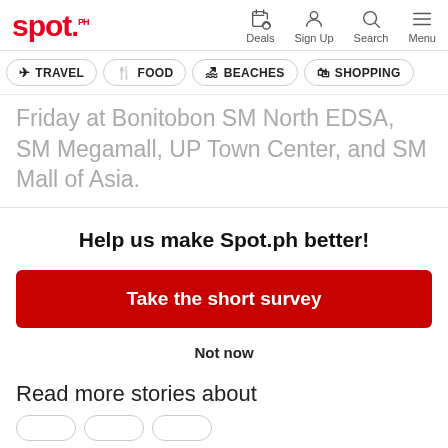spot. — Deals | Sign Up | Search | Menu
TRAVEL
FOOD
BEACHES
SHOPPING
Friday at Bonitobon SM North EDSA, SM Megamall, UP Town Center, and SM Mall of Asia.
Help us make Spot.ph better!
Take the short survey
Not now
Read more stories about